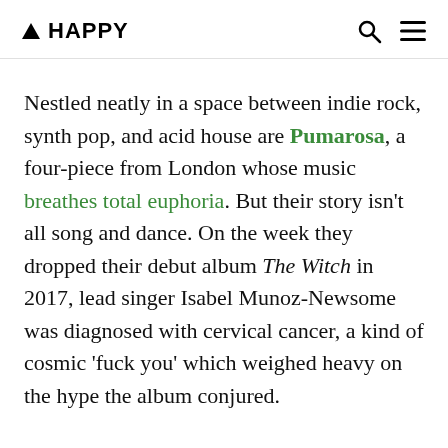▲ HAPPY
Nestled neatly in a space between indie rock, synth pop, and acid house are Pumarosa, a four-piece from London whose music breathes total euphoria. But their story isn't all song and dance. On the week they dropped their debut album The Witch in 2017, lead singer Isabel Munoz-Newsome was diagnosed with cervical cancer, a kind of cosmic 'fuck you' which weighed heavy on the hype the album conjured.